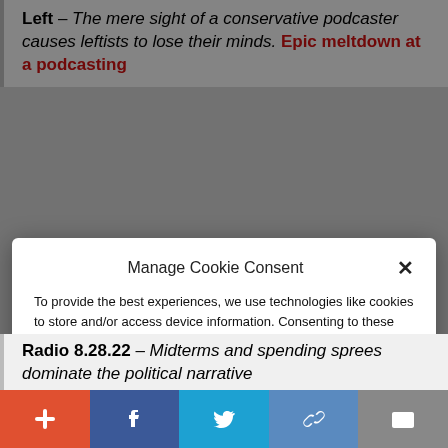Left – The mere sight of a conservative podcaster causes leftists to lose their minds. Epic meltdown at a podcasting
Manage Cookie Consent
To provide the best experiences, we use technologies like cookies to store and/or access device information. Consenting to these technologies will allow us to process data such as website statistics. Not consenting or withdrawing consent, may adversely affect certain features and functions.
Accept
Cookie Policy  Privacy Policy
Radio 8.28.22 – Midterms and spending sprees dominate the political narrative